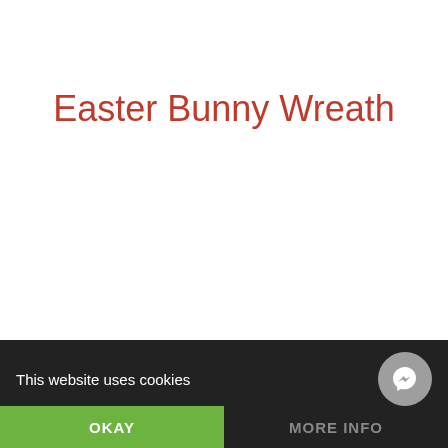Easter Bunny Wreath
This website uses cookies
OKAY
MORE INFO